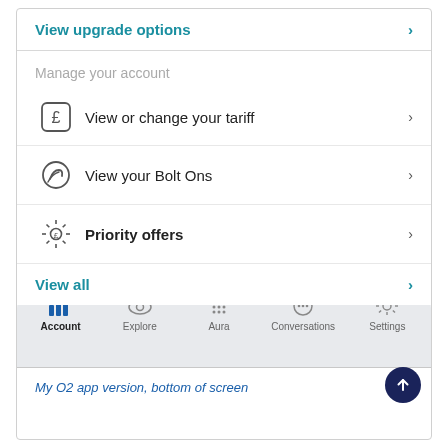View upgrade options
Manage your account
View or change your tariff
View your Bolt Ons
Priority offers
View all
[Figure (screenshot): Bottom navigation bar with icons: Account (active, bar chart icon), Explore (eye icon with green dot), Aura (dots grid icon), Conversations (speech bubble icon), Settings (gear icon)]
My O2 app version, bottom of screen